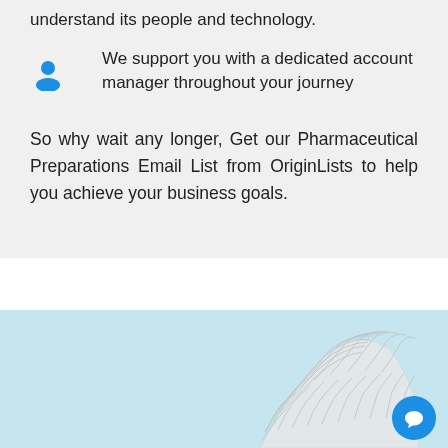understand its people and technology.
We support you with a dedicated account manager throughout your journey
So why wait any longer, Get our Pharmaceutical Preparations Email List from OriginLists to help you achieve your business goals.
[Figure (photo): Light blue background with a white 3D mesh/lattice sculptural shape, partially visible at bottom of page. A blue circular chat bubble icon is in the bottom right corner.]